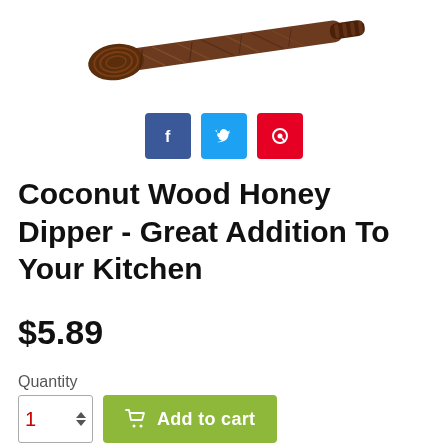[Figure (photo): Coconut wood honey dipper utensil viewed from above at an angle, showing dark brown wood grain texture]
[Figure (infographic): Social share buttons: Facebook (blue), Twitter (light blue), Pinterest (red)]
Coconut Wood Honey Dipper - Great Addition To Your Kitchen
$5.89
Quantity
1  Add to cart